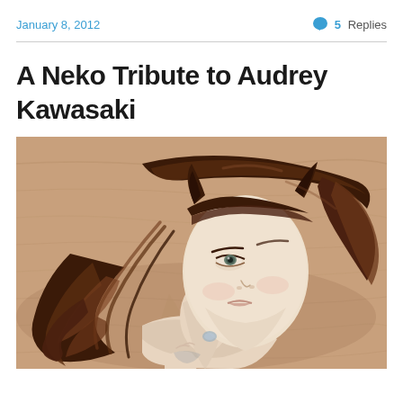January 8, 2012    💬 5 Replies
A Neko Tribute to Audrey Kawasaki
[Figure (illustration): Digital 3D illustration of a neko (cat-girl) character lying on a wooden surface, with dark brown flowing hair, cat ears, pale skin, and a delicate face looking upward, in the style of Audrey Kawasaki.]